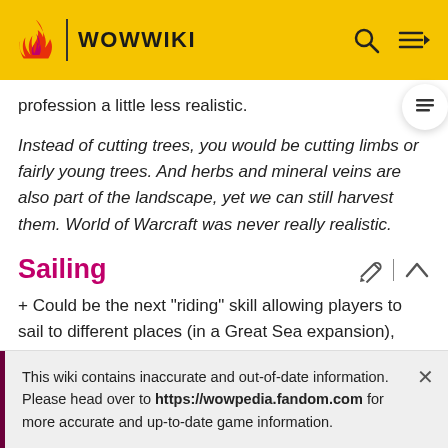WOWWIKI
profession a little less realistic.
Instead of cutting trees, you would be cutting limbs or fairly young trees. And herbs and mineral veins are also part of the landscape, yet we can still harvest them. World of Warcraft was never really realistic.
Sailing
+ Could be the next "riding" skill allowing players to sail to different places (in a Great Sea expansion), since ground
This wiki contains inaccurate and out-of-date information. Please head over to https://wowpedia.fandom.com for more accurate and up-to-date game information.